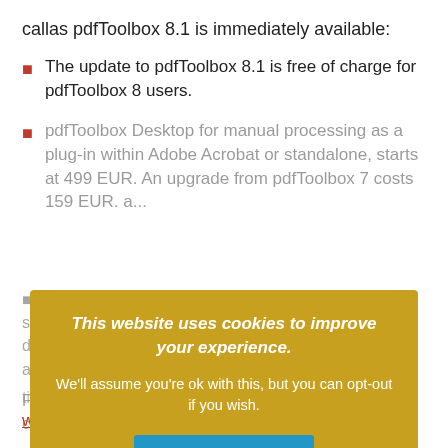callas pdfToolbox 8.1 is immediately available:
The update to pdfToolbox 8.1 is free of charge for pdfToolbox 8 users.
pdfToolbox Desktop for manual processing as a plug-in within Adobe Acrobat or standalone, starts at 499 EUR. An upgrade from pdfToolbox 7 costs 159 EUR. a...
pdfToolbox Server ... fully automated solutions, start at 999... upgrade price to pdfToolbox Server is often discounted for users who have an active support and ... agreement
For further information... time-limited trial version can be downloaded from www.callassoftware.com
This website uses cookies to improve your experience.
We'll assume you're ok with this, but you can opt-out if you wish.